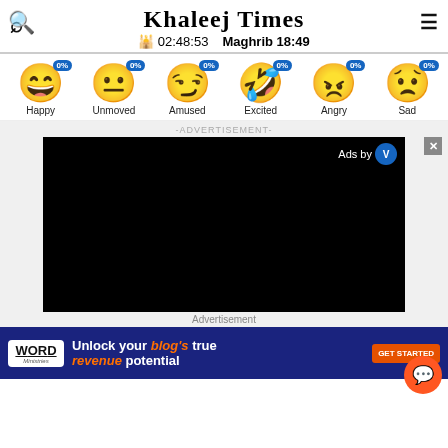Khaleej Times
02:48:53   Maghrib 18:49
[Figure (infographic): Six emoji reaction buttons each showing 0%: Happy, Unmoved, Amused, Excited, Angry, Sad]
-ADVERTISEMENT-
[Figure (screenshot): Black video advertisement box with 'Ads by V' logo in top right corner]
Advertisement
Unlock your blog's true revenue potential GET STARTED